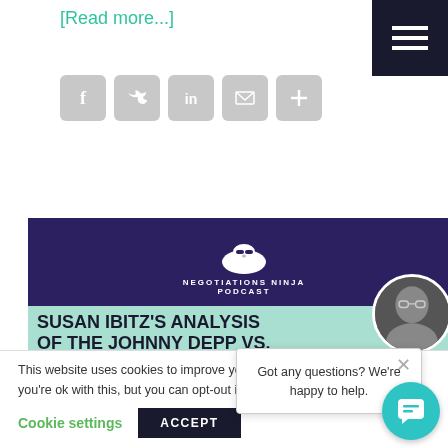[Read more...]
[Figure (other): Social sharing icons: Facebook, Twitter, LinkedIn, Email, Share+]
[Figure (other): Negotiations Ninja Podcast banner showing 'SUSAN IBITZ'S ANALYSIS OF THE JOHNNY DEPP VS. AMBER HEAR...' with host and guest photos]
Got any questions? We're happy to help.
This website uses cookies to improve your experience. We'll assume you're ok with this, but you can opt-out if you
Cookie settings
ACCEPT